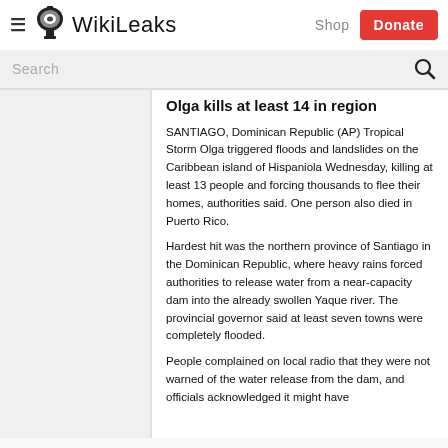WikiLeaks
Olga kills at least 14 in region
SANTIAGO, Dominican Republic (AP) Tropical Storm Olga triggered floods and landslides on the Caribbean island of Hispaniola Wednesday, killing at least 13 people and forcing thousands to flee their homes, authorities said. One person also died in Puerto Rico.
Hardest hit was the northern province of Santiago in the Dominican Republic, where heavy rains forced authorities to release water from a near-capacity dam into the already swollen Yaque river. The provincial governor said at least seven towns were completely flooded.
People complained on local radio that they were not warned of the water release from the dam, and officials acknowledged it might have